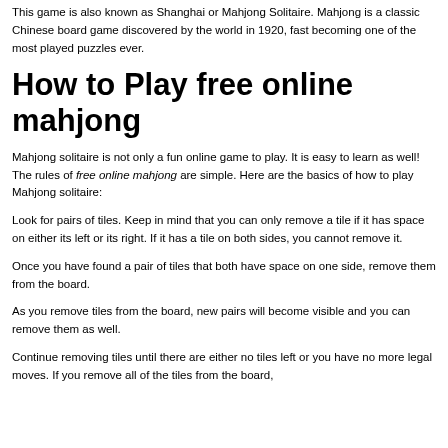This game is also known as Shanghai or Mahjong Solitaire. Mahjong is a classic Chinese board game discovered by the world in 1920, fast becoming one of the most played puzzles ever.
How to Play free online mahjong
Mahjong solitaire is not only a fun online game to play. It is easy to learn as well! The rules of free online mahjong are simple. Here are the basics of how to play Mahjong solitaire:
Look for pairs of tiles. Keep in mind that you can only remove a tile if it has space on either its left or its right. If it has a tile on both sides, you cannot remove it.
Once you have found a pair of tiles that both have space on one side, remove them from the board.
As you remove tiles from the board, new pairs will become visible and you can remove them as well.
Continue removing tiles until there are either no tiles left or you have no more legal moves. If you remove all of the tiles from the board,